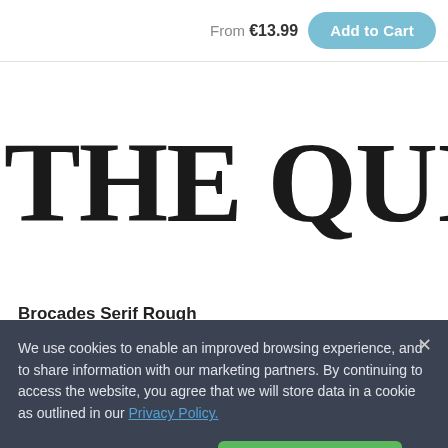From €13.99
Add to Cart
[Figure (screenshot): Large decorative serif font preview showing 'THE QUICK' in bold black letters, partially cropped on the right side]
Brocades Serif Rough
We use cookies to enable an improved browsing experience, and to share information with our marketing partners. By continuing to access the website, you agree that we will store data in a cookie as outlined in our Privacy Policy.
Cookies Settings
Accept Cookies